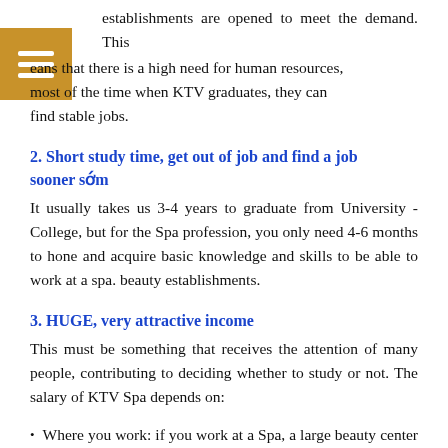establishments are opened to meet the demand. This means that there is a high need for human resources, most of the time when KTV graduates, they can find stable jobs.
2. Short study time, get out of job and find a job sooner sớm
It usually takes us 3-4 years to graduate from University - College, but for the Spa profession, you only need 4-6 months to hone and acquire basic knowledge and skills to be able to work at a spa. beauty establishments.
3. HUGE, very attractive income
This must be something that receives the attention of many people, contributing to deciding whether to study or not. The salary of KTV Spa depends on:
Where you work: if you work at a Spa, a large beauty center also means a higher salary than a